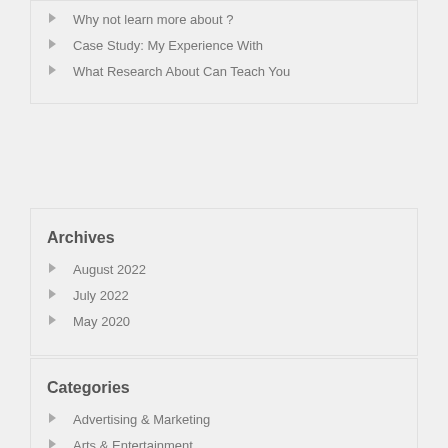Why not learn more about ?
Case Study: My Experience With
What Research About Can Teach You
Archives
August 2022
July 2022
May 2020
Categories
Advertising & Marketing
Arts & Entertainment
Auto & Motor